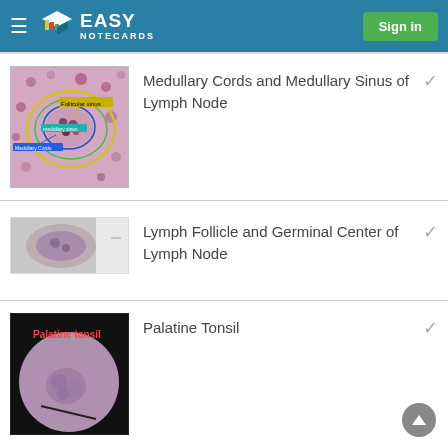Easy Notecards — Sign in
[Figure (photo): Microscope image of medullary cords and medullary sinus of lymph node with colored outlines and labels]
Medullary Cords and Medullary Sinus of Lymph Node
[Figure (photo): Partial/blurred microscope image of lymph follicle and germinal center of lymph node]
Lymph Follicle and Germinal Center of Lymph Node
[Figure (photo): Microscope image of Palatine Tonsil with red label text on dark background]
Palatine Tonsil